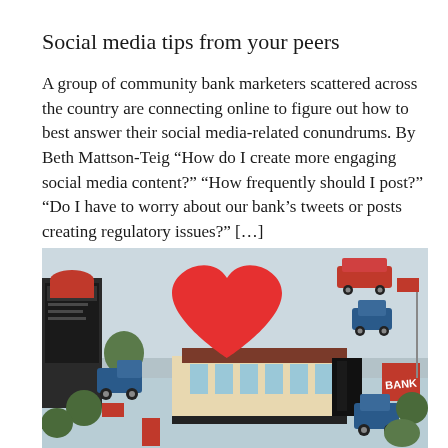Social media tips from your peers
A group of community bank marketers scattered across the country are connecting online to figure out how to best answer their social media-related conundrums. By Beth Mattson-Teig “How do I create more engaging social media content?” “How frequently should I post?” “Do I have to worry about our bank’s tweets or posts creating regulatory issues?” […]
[Figure (illustration): Illustrated isometric scene of a heart-shaped bank building surrounded by cars, trees, streets, and a BANK sign, depicted in a stylized flat graphic style.]